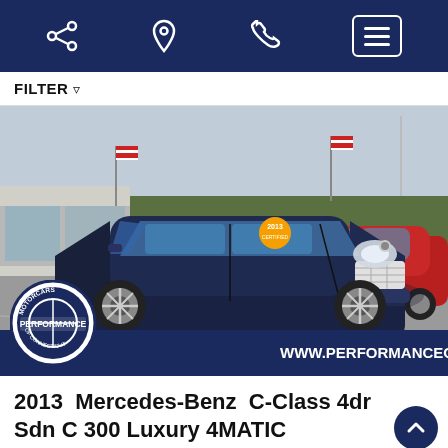Navigation bar with share, location, phone, and menu icons
FILTER
[Figure (photo): 2013 Mercedes-Benz C-Class 4dr Sedan dark blue car parked in a dealership lot. A red sedan is visible in the background. A Performance Motorcars of Connecticut dealer logo and www.performanceon7.com URL overlay appear at the bottom of the image.]
2013  Mercedes-Benz  C-Class 4dr Sdn C 300 Luxury 4MATIC